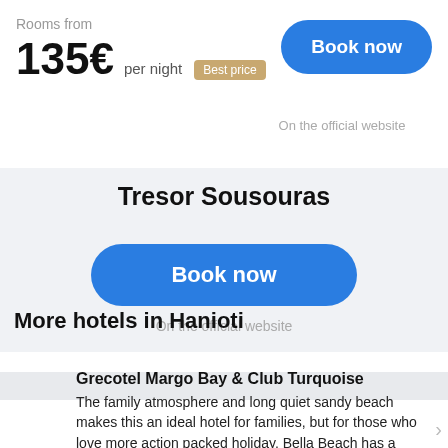Rooms from
135€ per night Best price
Book now
On the official website
Tresor Sousouras
Book now
On the official website
More hotels in Hanioti
Grecotel Margo Bay & Club Turquoise
The family atmosphere and long quiet sandy beach makes this an ideal hotel for families, but for those who love more action packed holiday, Bella Beach has a great choice to